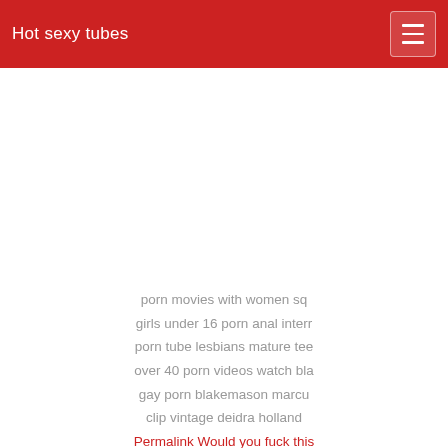Hot sexy tubes
porn movies with women sq girls under 16 porn anal interr porn tube lesbians mature tee over 40 porn videos watch bla gay porn blakemason marcu clip vintage deidra holland Permalink Would you fuck this PLEASE COMMENT